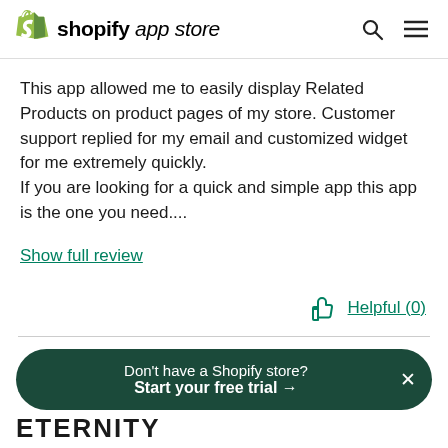shopify app store
This app allowed me to easily display Related Products on product pages of my store. Customer support replied for my email and customized widget for me extremely quickly.
If you are looking for a quick and simple app this app is the one you need....
Show full review
Helpful (0)
Don't have a Shopify store?
Start your free trial →
ETERNITY